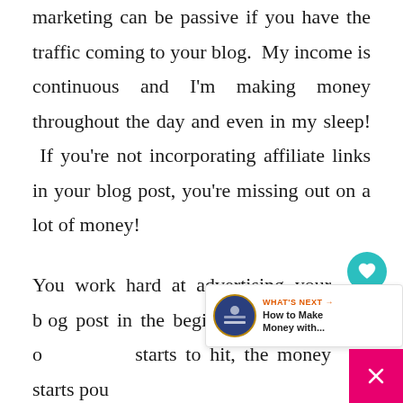marketing can be passive if you have the traffic coming to your blog. My income is continuous and I'm making money throughout the day and even in my sleep! If you're not incorporating affiliate links in your blog post, you're missing out on a lot of money!
You work hard at advertising your blog post in the beginning and then once traffic starts to hit, the money starts pouring in. Your affiliate income should like to...
[Figure (infographic): UI overlay widgets: teal heart favorite button, white share button, 'WHAT'S NEXT' widget showing a thumbnail and text 'How to Make Money with...', and a pink/magenta close X button at bottom-right corner]